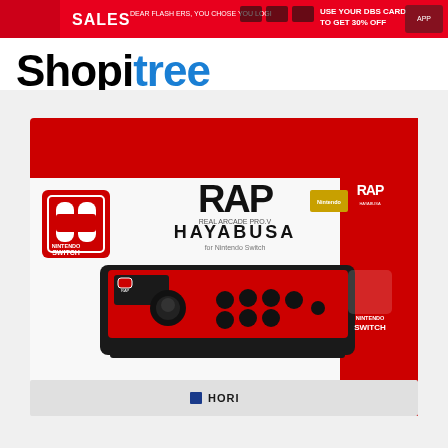[Figure (screenshot): Red promotional banner at top with SALES text, DBS card offer for 30% off, and flash sale countdown timers]
[Figure (logo): Shopitree logo — 'Shopi' in black bold text, 'tree' in blue bold text]
[Figure (photo): Product photo of HORI RAP Real Arcade Pro V Hayabusa arcade stick for Nintendo Switch in retail box. Box is red and black showing the arcade stick controller with joystick and multiple buttons on a red faceplate. Nintendo Switch logo visible on box side. HORI logo at bottom.]